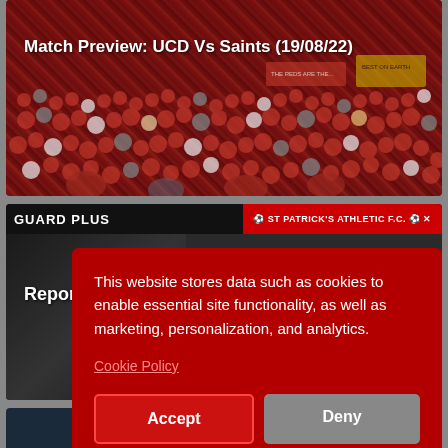[Figure (photo): Football crowd photo with red-clad supporters, used as background for match preview card]
Match Preview: UCD Vs Saints (19/08/22)
[Figure (screenshot): Website screenshot showing ST PATRICK'S ATHLETIC F.C. page with GUARD PLUS header, player image, and Report label]
Report:
[Figure (infographic): Cookie consent modal overlay on dark red background]
This website stores data such as cookies to enable essential site functionality, as well as marketing, personalization, and analytics.
Cookie Policy
Accept
Deny
[Figure (photo): Partial football image at bottom of page, cut off, showing partial title beginning with Joseph Anamu Reports]